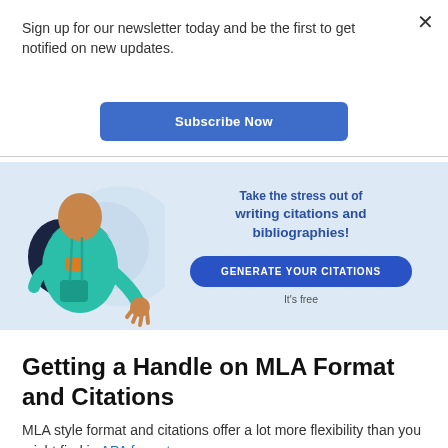Sign up for our newsletter today and be the first to get notified on new updates.
Subscribe Now
[Figure (illustration): Advertisement banner with an illustrated person wearing a teal hoodie and backpack on the left, and text on the right reading 'Take the stress out of writing citations and bibliographies!' with a blue 'GENERATE YOUR CITATIONS' button and 'It's free' text below.]
Getting a Handle on MLA Format and Citations
MLA style format and citations offer a lot more flexibility than you might find in APA format or